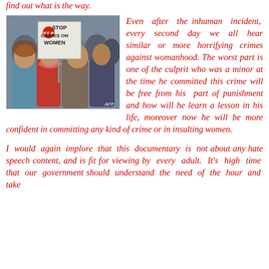find out what is the way.
[Figure (photo): Protest photo showing women holding a sign that reads 'STOP CRIMES ON WOMEN', AFP watermark visible]
Even after the inhuman incident, every second day we all hear similar or more horrifying crimes against womanhood. The worst part is one of the culprit who was a minor at the time he committed this crime will be free from his part of punishment and how will he learn a lesson in his life, moreover now he will be more confident in committing any kind of crime or in insulting women.
I would again implore that this documentary is not about any hate speech content, and is fit for viewing by every adult. It's high time that our government should understand the need of the hour and take